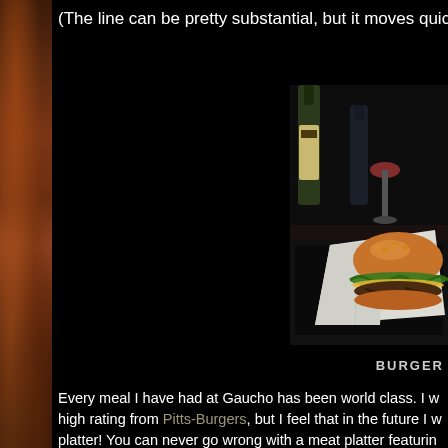(The line can be pretty substantial, but it moves quickly.)
[Figure (photo): A burger wrapped in white paper/wrapper on a dark bar counter, with wine bottles and glasses in the background.]
BURGER
Every meal I have had at Gaucho has been world class. I w high rating from Pitts-Burgers, but I feel that in the future I w platter! You can never go wrong with a meat platter featurin fantastic homemade sauces. Always go with the steak, eat
The burger was just a bit too pedestrian for my tastes at a r